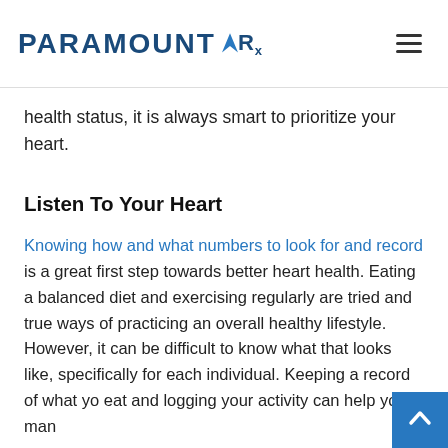PARAMOUNT Rx
health status, it is always smart to prioritize your heart.
Listen To Your Heart
Knowing how and what numbers to look for and record is a great first step towards better heart health. Eating a balanced diet and exercising regularly are tried and true ways of practicing an overall healthy lifestyle.  However, it can be difficult to know what that looks like, specifically for each individual. Keeping a record of what you eat and logging your activity can help you man